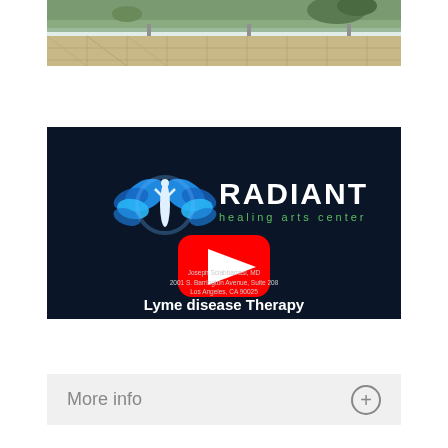[Figure (photo): Photo of an outdoor terrace or balcony area with tiled floor, glass railing, and some greenery/plants in the background]
[Figure (screenshot): YouTube video thumbnail for Radiant Healing Arts Center featuring a blue butterfly logo, the YouTube play button, title 'Lyme disease Therapy', and doctor info: Joseph Sciabbarrasi, MD, 2001 S. Barrington Avenue, Suite 208, Los Angeles, CA 90025]
More info